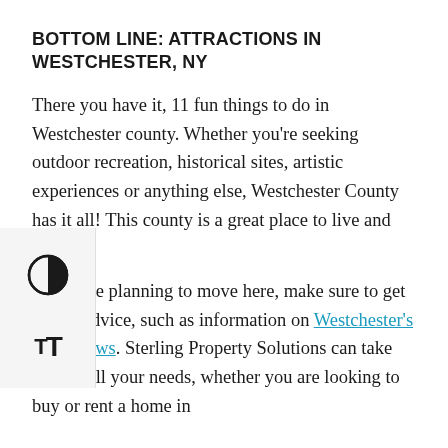BOTTOM LINE: ATTRACTIONS IN WESTCHESTER, NY
There you have it, 11 fun things to do in Westchester county. Whether you're seeking outdoor recreation, historical sites, artistic experiences or anything else, Westchester County has it all! This county is a great place to live and work.
If you are planning to move here, make sure to get expert advice, such as information on Westchester's tenant laws. Sterling Property Solutions can take care of all your needs, whether you are looking to buy or rent a home in